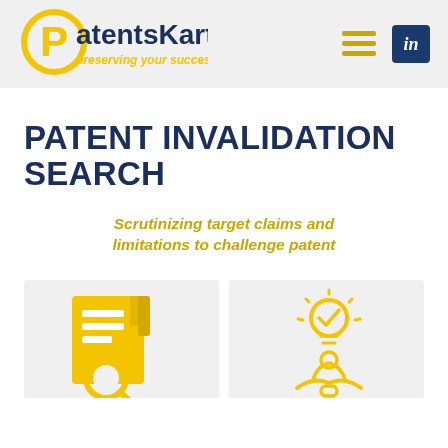[Figure (logo): PatentsKart logo with yellow circle and 'P', navy text 'PatentsKart', yellow italic tagline 'preserving your success']
PATENT INVALIDATION SEARCH
Scrutinizing target claims and limitations to challenge patent
[Figure (illustration): Yellow icon of a document/patent with magnifying glass]
[Figure (illustration): Yellow icon of a person with a lightbulb idea]